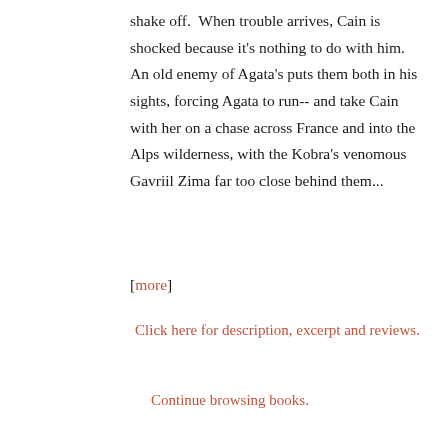shake off.  When trouble arrives, Cain is shocked because it's nothing to do with him.  An old enemy of Agata's puts them both in his sights, forcing Agata to run-- and take Cain with her on a chase across France and into the Alps wilderness, with the Kobra's venomous Gavriil Zima far too close behind them... [more]
Click here for description, excerpt and reviews.
Continue browsing books.